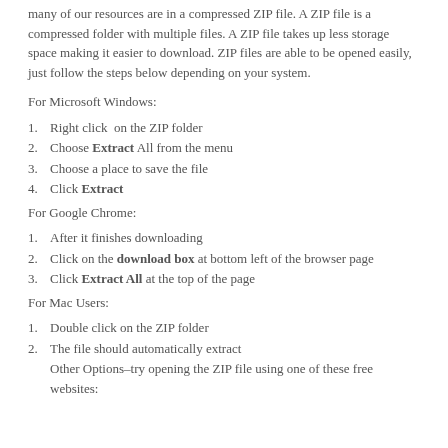many of our resources are in a compressed ZIP file. A ZIP file is a compressed folder with multiple files. A ZIP file takes up less storage space making it easier to download. ZIP files are able to be opened easily, just follow the steps below depending on your system.
For Microsoft Windows:
1. Right click  on the ZIP folder
2. Choose Extract All from the menu
3. Choose a place to save the file
4. Click Extract
For Google Chrome:
1. After it finishes downloading
2. Click on the download box at bottom left of the browser page
3. Click Extract All at the top of the page
For Mac Users:
1. Double click on the ZIP folder
2. The file should automatically extract
Other Options–try opening the ZIP file using one of these free websites: